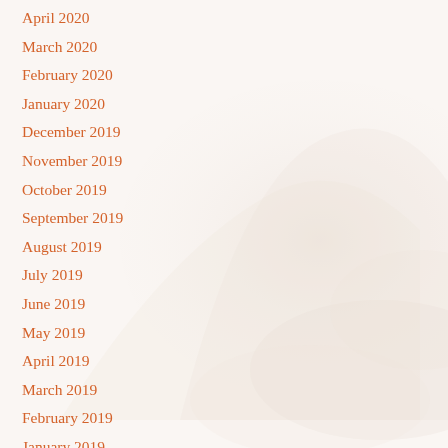April 2020
March 2020
February 2020
January 2020
December 2019
November 2019
October 2019
September 2019
August 2019
July 2019
June 2019
May 2019
April 2019
March 2019
February 2019
January 2019